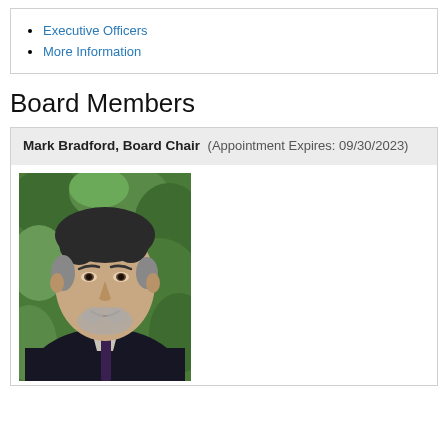Executive Officers
More Information
Board Members
Mark Bradford, Board Chair (Appointment Expires: 09/30/2023)
[Figure (photo): Headshot photo of Mark Bradford, an older man with grey hair and beard wearing a dark suit and tie, with green foliage in the background.]